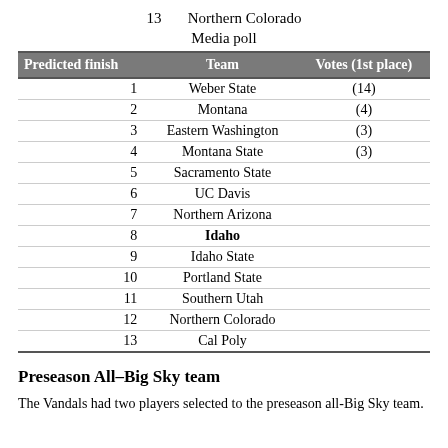13    Northern Colorado
Media poll
| Predicted finish | Team | Votes (1st place) |
| --- | --- | --- |
| 1 | Weber State | (14) |
| 2 | Montana | (4) |
| 3 | Eastern Washington | (3) |
| 4 | Montana State | (3) |
| 5 | Sacramento State |  |
| 6 | UC Davis |  |
| 7 | Northern Arizona |  |
| 8 | Idaho |  |
| 9 | Idaho State |  |
| 10 | Portland State |  |
| 11 | Southern Utah |  |
| 12 | Northern Colorado |  |
| 13 | Cal Poly |  |
Preseason All–Big Sky team
The Vandals had two players selected to the preseason all-Big Sky team.